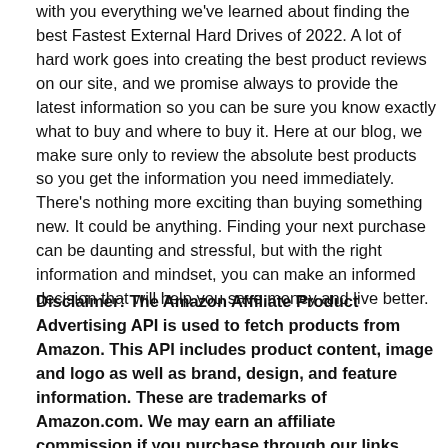with you everything we've learned about finding the best Fastest External Hard Drives of 2022. A lot of hard work goes into creating the best product reviews on our site, and we promise always to provide the latest information so you can be sure you know exactly what to buy and where to buy it. Here at our blog, we make sure only to review the absolute best products so you get the information you need immediately. There's nothing more exciting than buying something new. It could be anything. Finding your next purchase can be daunting and stressful, but with the right information and mindset, you can make an informed decision that will help you save money and live better.
Disclaimer: The Amazon Affiliate Product Advertising API is used to fetch products from Amazon. This API includes product content, image and logo as well as brand, design, and feature information. These are trademarks of Amazon.com. We may earn an affiliate commission if you purchase through our links.